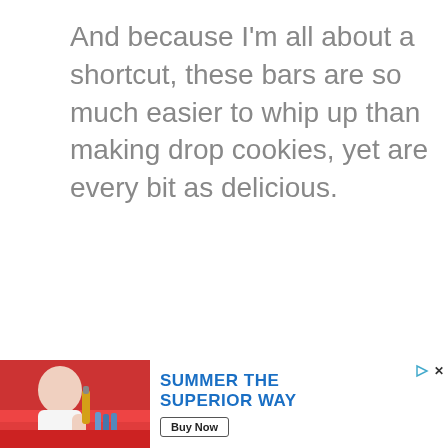And because I'm all about a shortcut, these bars are so much easier to whip up than making drop cookies, yet are every bit as delicious.
[Figure (other): An advertisement banner at the bottom of the page showing a person with a bottle on the left, and text reading 'SUMMER THE SUPERIOR WAY' with a 'Buy Now' button on a white background. A small play icon and X close button appear in the top-right corner.]